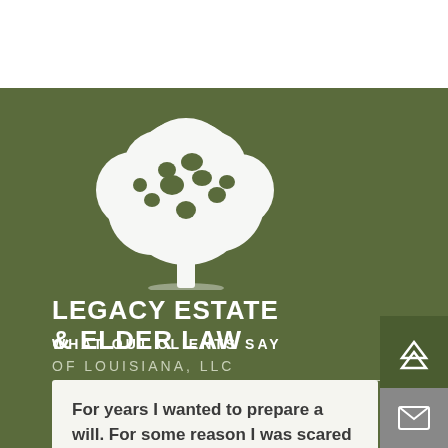[Figure (logo): Legacy Estate & Elder Law of Louisiana, LLC logo with white tree illustration on olive green background]
WHAT OUT CLIENTS SAY
For years I wanted to prepare a will. For some reason I was scared to death. [...].